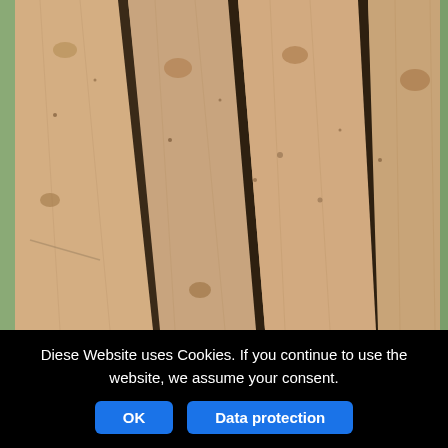[Figure (photo): Close-up photograph of several light-colored wooden planks (pine or spruce timber) with visible knots and grain, arranged side by side viewed from a low angle perspective.]
Diese Website uses Cookies. If you continue to use the website, we assume your consent.
OK
Data protection